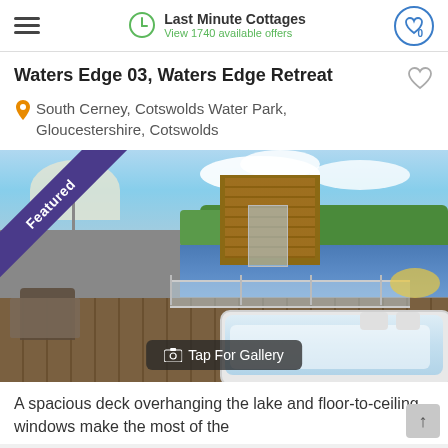Last Minute Cottages | View 1740 available offers
Waters Edge 03, Waters Edge Retreat
South Cerney, Cotswolds Water Park, Gloucestershire, Cotswolds
[Figure (photo): Outdoor deck with hot tub overlooking a lake, with rattan furniture, glass balcony railing, a wooden building, trees and sky in background. Featured ribbon in top-left corner. 'Tap For Gallery' button overlay at bottom.]
A spacious deck overhanging the lake and floor-to-ceiling windows make the most of the